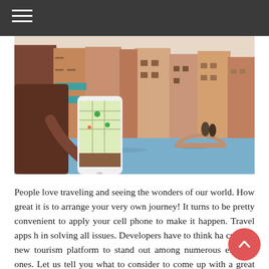[Figure (photo): Person holding a smartphone displaying a map/travel app with Venice canal and colorful buildings in the background. A couple is visible in the distance on a bridge.]
People love traveling and seeing the wonders of our world. How great it is to arrange your very own journey! It turns to be pretty convenient to apply your cell phone to make it happen. Travel apps h[elp] in solving all issues. Developers have to think ha[rd to] create a new tourism platform to stand out among numerous existing ones. Let us tell you what to consider to come up with a great service for